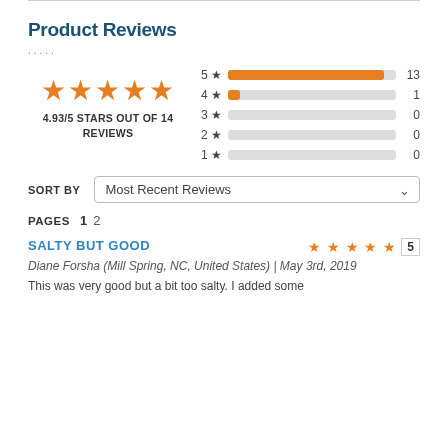Product Reviews
[Figure (bar-chart): Star ratings]
4.93/5 STARS OUT OF 14 REVIEWS
SORT BY  Most Recent Reviews
PAGES  1  2
SALTY BUT GOOD
5 stars
Diane Forsha (Mill Spring, NC, United States) | May 3rd, 2019
This was very good but a bit too salty. I added some...